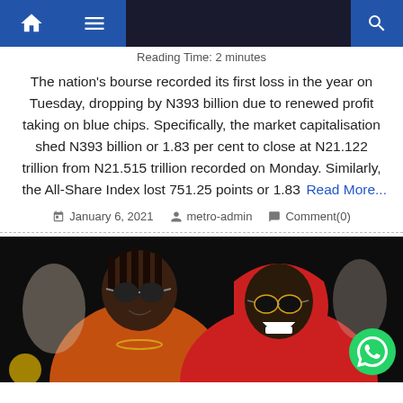Navigation bar with home, menu, and search icons
Reading Time: 2 minutes
The nation's bourse recorded its first loss in the year on Tuesday, dropping by N393 billion due to renewed profit taking on blue chips. Specifically, the market capitalisation shed N393 billion or 1.83 per cent to close at N21.122 trillion from N21.515 trillion recorded on Monday. Similarly, the All-Share Index lost 751.25 points or 1.83 Read More...
January 6, 2021  metro-admin  Comment(0)
[Figure (photo): Two men posing together. Left man wearing orange jacket with sunglasses, right man wearing red hoodie with sunglasses and smiling. WhatsApp button overlay in bottom right corner.]